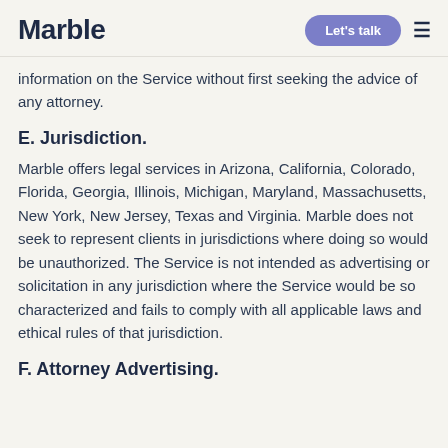Marble  Let's talk  ≡
information on the Service without first seeking the advice of any attorney.
E. Jurisdiction.
Marble offers legal services in Arizona, California, Colorado, Florida, Georgia, Illinois, Michigan, Maryland, Massachusetts, New York, New Jersey, Texas and Virginia. Marble does not seek to represent clients in jurisdictions where doing so would be unauthorized. The Service is not intended as advertising or solicitation in any jurisdiction where the Service would be so characterized and fails to comply with all applicable laws and ethical rules of that jurisdiction.
F. Attorney Advertising.